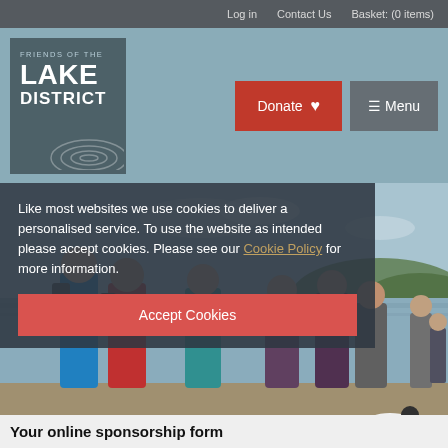Log in   Contact Us   Basket: (0 items)
[Figure (logo): Friends of the Lake District logo on grey-green background with topographic contour illustration]
Donate
≡ Menu
[Figure (photo): Group of people in running/outdoor gear standing on a beach or estuary shore, hills and water visible in background]
Like most websites we use cookies to deliver a personalised service. To use the website as intended please accept cookies. Please see our Cookie Policy for more information.
Accept Cookies
Your online sponsorship form